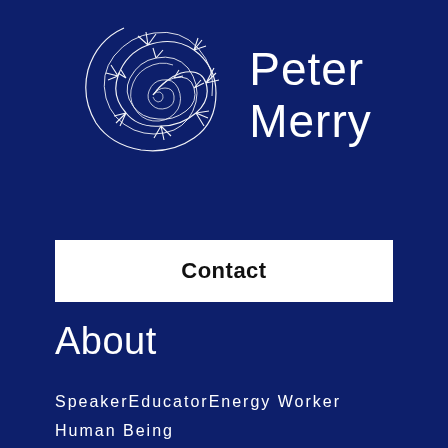[Figure (logo): White swirling spiral/vortex logo mark on dark navy background, paired with the name 'Peter Merry' in white sans-serif text]
Peter Merry
Contact
About
SpeakerEducatorEnergy Worker
Human Being